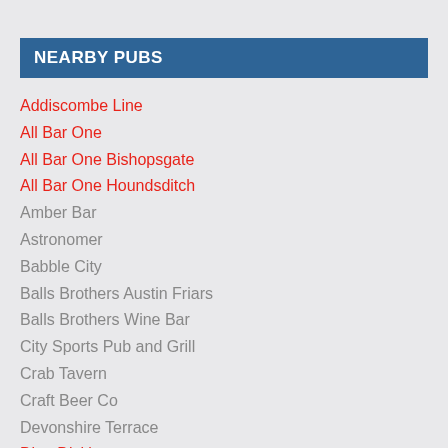NEARBY PUBS
Addiscombe Line
All Bar One
All Bar One Bishopsgate
All Bar One Houndsditch
Amber Bar
Astronomer
Babble City
Balls Brothers Austin Friars
Balls Brothers Wine Bar
City Sports Pub and Grill
Crab Tavern
Craft Beer Co
Devonshire Terrace
Dirty Dick's
Dirty Martini
Forge Bar & Club